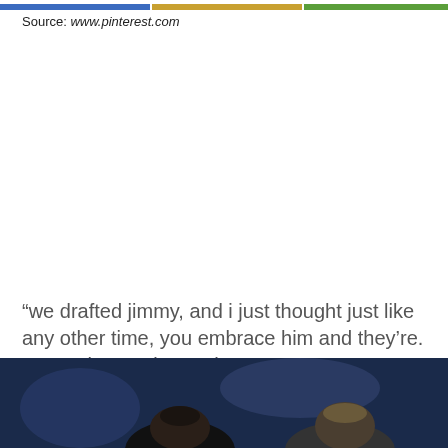[Figure (photo): Colorful banner image at the top of the page, partially cropped, showing multiple photos in a strip.]
Source: www.pinterest.com
“we drafted jimmy, and i just thought just like any other time, you embrace him and they’re. Tampa bay no longer has a vacancy.
[Figure (photo): Photo of two men, partially cropped at the bottom of the page, appearing to be at a sporting event.]